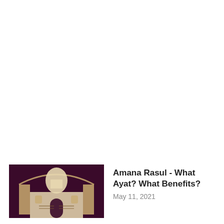[Figure (photo): Thumbnail image of a mosque/Islamic architecture with a white dome and gate, dark purple/maroon background with text visible on the structure.]
Amana Rasul - What Ayat? What Benefits?
May 11, 2021